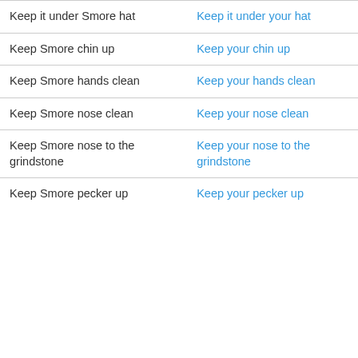| Smore phrase | Original phrase |
| --- | --- |
| Keep it under Smore hat | Keep it under your hat |
| Keep Smore chin up | Keep your chin up |
| Keep Smore hands clean | Keep your hands clean |
| Keep Smore nose clean | Keep your nose clean |
| Keep Smore nose to the grindstone | Keep your nose to the grindstone |
| Keep Smore pecker up | Keep your pecker up |